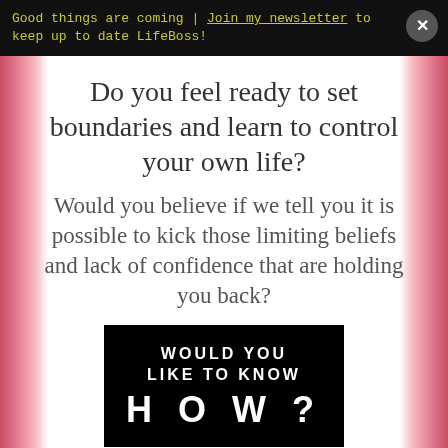Good things are coming | Join my newsletter to keep up to date LifeBoss!
Do you feel ready to set boundaries and learn to control your own life?
Would you believe if we tell you it is possible to kick those limiting beliefs and lack of confidence that are holding you back?
[Figure (other): Black box with white text reading WOULD YOU LIKE TO KNOW HOW?]
Think of the words “hypnosis”